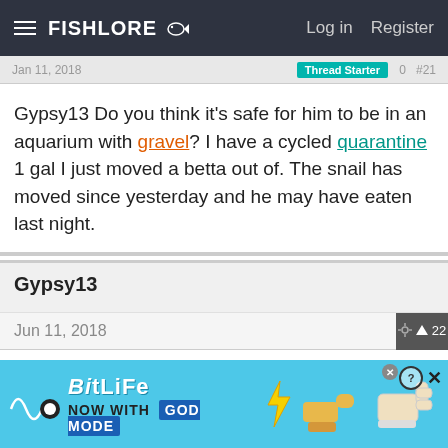FishLore — Log in   Register
Jan 11, 2018   Thread Starter   #21
Gypsy13 Do you think it's safe for him to be in an aquarium with gravel? I have a cycled quarantine 1 gal I just moved a betta out of. The snail has moved since yesterday and he may have eaten last night.
Gypsy13
Jun 11, 2018   ↑22
Yes. As long as he's where no one can pick at his exposed flesh, and he's moving, he can be in there. Did you manage to get his twig out?
[Figure (screenshot): BitLife advertisement banner — 'Now with God Mode']